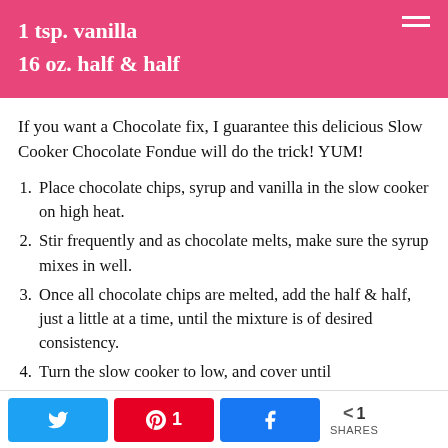1 tsp. vanilla
16 oz. half & half
If you want a Chocolate fix, I guarantee this delicious Slow Cooker Chocolate Fondue will do the trick! YUM!
Place chocolate chips, syrup and vanilla in the slow cooker on high heat.
Stir frequently and as chocolate melts, make sure the syrup mixes in well.
Once all chocolate chips are melted, add the half & half, just a little at a time, until the mixture is of desired consistency.
Turn the slow cooker to low, and cover until
Twitter share | Pinterest 1 | Facebook share | < 1 SHARES